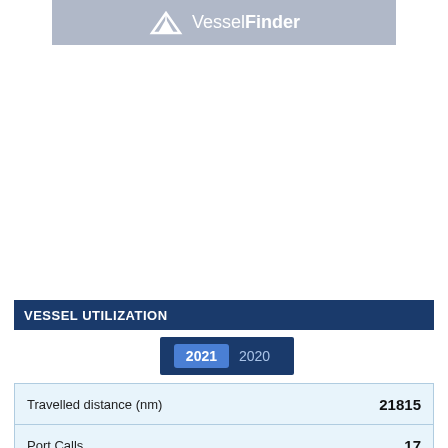[Figure (logo): VesselFinder logo with paper boat icon on grey banner background]
VESSEL UTILIZATION
2021  2020
|  |  |
| --- | --- |
| Travelled distance (nm) | 21815 |
| Port Calls | 17 |
| Average / Max Speed (kn) | 🔒 |